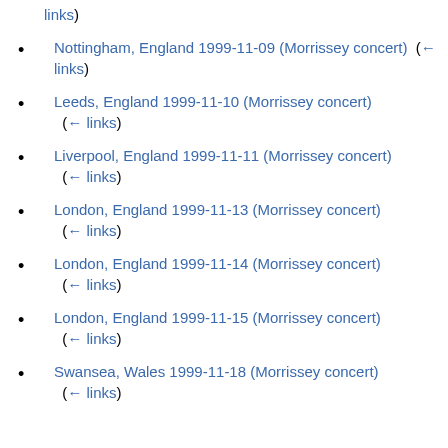links) (partial — top of page)
Nottingham, England 1999-11-09 (Morrissey concert) (← links)
Leeds, England 1999-11-10 (Morrissey concert) (← links)
Liverpool, England 1999-11-11 (Morrissey concert) (← links)
London, England 1999-11-13 (Morrissey concert) (← links)
London, England 1999-11-14 (Morrissey concert) (← links)
London, England 1999-11-15 (Morrissey concert) (← links)
Swansea, Wales 1999-11-18 (Morrissey concert) (← links) (partial — bottom of page)